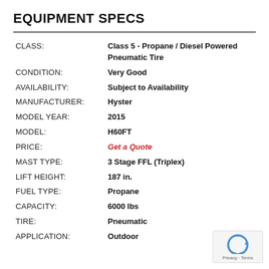EQUIPMENT SPECS
| Field | Value |
| --- | --- |
| CLASS: | Class 5 - Propane / Diesel Powered Pneumatic Tire |
| CONDITION: | Very Good |
| AVAILABILITY: | Subject to Availability |
| MANUFACTURER: | Hyster |
| MODEL YEAR: | 2015 |
| MODEL: | H60FT |
| PRICE: | Get a Quote |
| MAST TYPE: | 3 Stage FFL (Triplex) |
| LIFT HEIGHT: | 187 in. |
| FUEL TYPE: | Propane |
| CAPACITY: | 6000 lbs |
| TIRE: | Pneumatic |
| APPLICATION: | Outdoor |